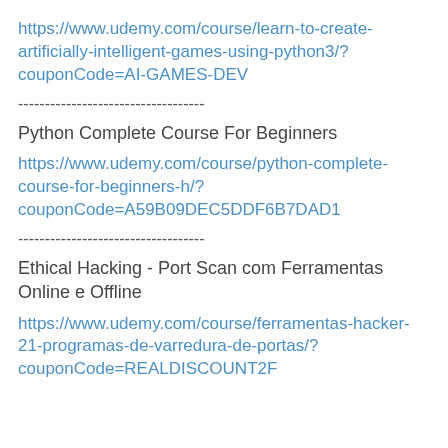https://www.udemy.com/course/learn-to-create-artificially-intelligent-games-using-python3/?couponCode=AI-GAMES-DEV
-----------------------------------
Python Complete Course For Beginners
https://www.udemy.com/course/python-complete-course-for-beginners-h/?couponCode=A59B09DEC5DDF6B7DAD1
-----------------------------------
Ethical Hacking - Port Scan com Ferramentas Online e Offline
https://www.udemy.com/course/ferramentas-hacker-21-programas-de-varredura-de-portas/?couponCode=REALDISCOUNT2F